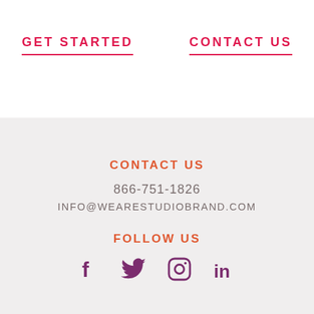GET STARTED
CONTACT US
CONTACT US
866-751-1826
INFO@WEARESTUDIOBRAND.COM
FOLLOW US
[Figure (illustration): Social media icons: Facebook, Twitter, Instagram, LinkedIn]